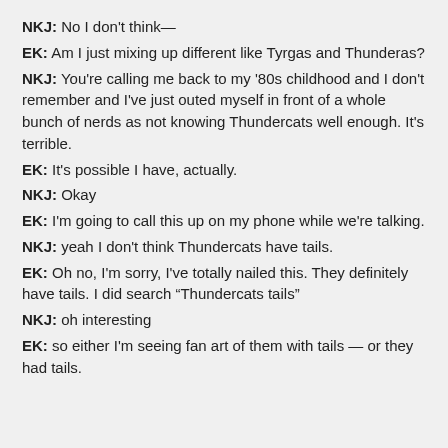NKJ: No I don't think—
EK: Am I just mixing up different like Tyrgas and Thunderas?
NKJ: You're calling me back to my '80s childhood and I don't remember and I've just outed myself in front of a whole bunch of nerds as not knowing Thundercats well enough. It's terrible.
EK: It's possible I have, actually.
NKJ: Okay
EK: I'm going to call this up on my phone while we're talking.
NKJ: yeah I don't think Thundercats have tails.
EK: Oh no, I'm sorry, I've totally nailed this. They definitely have tails. I did search “Thundercats tails”
NKJ: oh interesting
EK: so either I'm seeing fan art of them with tails — or they had tails.